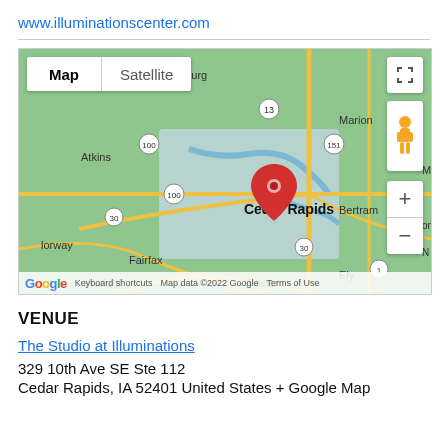www.illuminationscenter.com
[Figure (map): Google Map showing Cedar Rapids, Iowa area with a red location pin on Cedar Rapids. Map/Satellite toggle buttons visible, along with zoom controls, pegman, and fullscreen button. Surrounding cities include Marion, Atkins, Fairfax, Walford, Bertram, Ely, Norway, Western. Roads include Route 100, 30, 151, 13, 1.]
VENUE
The Studio at Illuminations
329 10th Ave SE Ste 112
Cedar Rapids, IA 52401 United States + Google Map